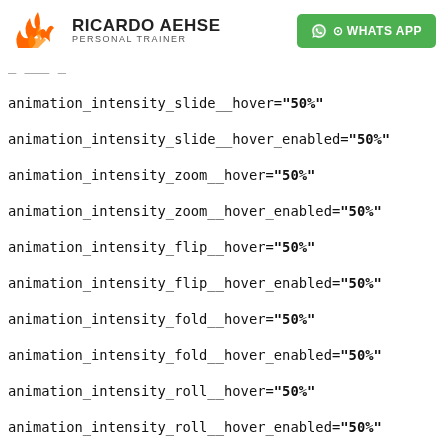RICARDO AEHSE PERSONAL TRAINER | WHATSAPP
animation_intensity_slide__hover="50%"
animation_intensity_slide__hover_enabled="50%"
animation_intensity_zoom__hover="50%"
animation_intensity_zoom__hover_enabled="50%"
animation_intensity_flip__hover="50%"
animation_intensity_flip__hover_enabled="50%"
animation_intensity_fold__hover="50%"
animation_intensity_fold__hover_enabled="50%"
animation_intensity_roll__hover="50%"
animation_intensity_roll__hover_enabled="50%"
animation_starting_opacity__hover="0%"
animation_starting_opacity__hover_enabled="0%"
animation_speed_curve__hover="ease-in-out"
animation_speed_curve__hover_enabled="ease."
hover_transition_duration__hover="300ms"